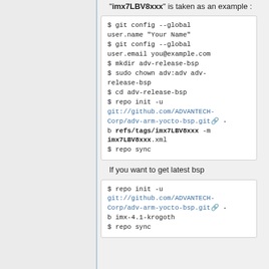"imx7LBV8xxx" is taken as an example :
$ git config --global user.name "Your Name"
$ git config --global user.email you@example.com
$ mkdir adv-release-bsp
$ sudo chown adv:adv adv-release-bsp
$ cd adv-release-bsp
$ repo init -u git://github.com/ADVANTECH-Corp/adv-arm-yocto-bsp.git -b refs/tags/imx7LBV8xxx -m imx7LBV8xxx.xml
$ repo sync
If you want to get latest bsp
$ repo init -u git://github.com/ADVANTECH-Corp/adv-arm-yocto-bsp.git -b imx-4.1-krogoth
$ repo sync